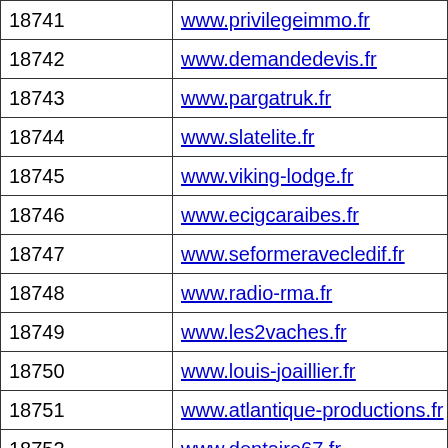| 18741 | www.privilegeimmo.fr |
| 18742 | www.demandedevis.fr |
| 18743 | www.pargatruk.fr |
| 18744 | www.slatelite.fr |
| 18745 | www.viking-lodge.fr |
| 18746 | www.ecigcaraibes.fr |
| 18747 | www.seformeravecledif.fr |
| 18748 | www.radio-rma.fr |
| 18749 | www.les2vaches.fr |
| 18750 | www.louis-joaillier.fr |
| 18751 | www.atlantique-productions.fr |
| 18752 | www.dentaire67.fr |
| 18753 | www.dentifrice.fr |
| 18754 | www.stenzoproteck.fr |
| 18755 | www.traindespignes.fr |
| 18756 | www.ehrbart.fr |